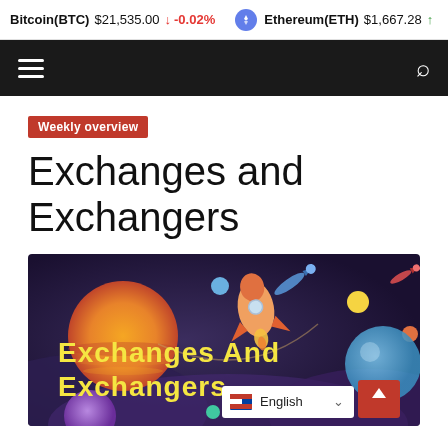Bitcoin(BTC) $21,535.00 ↓ -0.02%  Ethereum(ETH) $1,667.28 ↑
Navigation bar with hamburger menu and search icon
Weekly overview
Exchanges and Exchangers
[Figure (illustration): Space-themed illustration with planets, rockets, and shooting stars on a dark purple background. Text overlay reads 'Exchanges And Exchangers' in bold yellow. A language selector showing 'English' and a back-to-top button are overlaid on the image.]